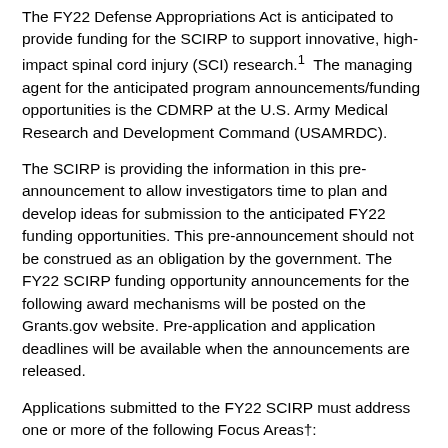The FY22 Defense Appropriations Act is anticipated to provide funding for the SCIRP to support innovative, high-impact spinal cord injury (SCI) research.1  The managing agent for the anticipated program announcements/funding opportunities is the CDMRP at the U.S. Army Medical Research and Development Command (USAMRDC).
The SCIRP is providing the information in this pre-announcement to allow investigators time to plan and develop ideas for submission to the anticipated FY22 funding opportunities. This pre-announcement should not be construed as an obligation by the government. The FY22 SCIRP funding opportunity announcements for the following award mechanisms will be posted on the Grants.gov website. Pre-application and application deadlines will be available when the announcements are released.
Applications submitted to the FY22 SCIRP must address one or more of the following Focus Areas†:
Preserving and protecting spinal cord tissue at time of injury for improved neurologic outcomes
Identifying and validating biomarkers for diagnosis, prognosis, and for evaluation of treatment efficacies
Developing, testing, and validating promising interventions to...